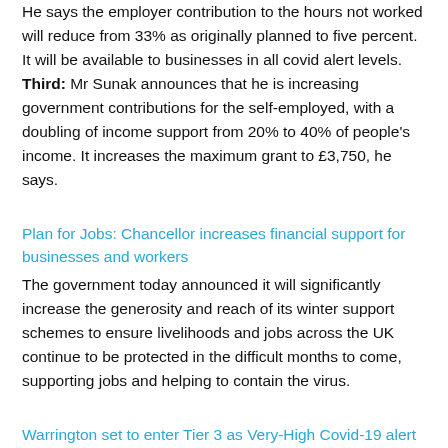He says the employer contribution to the hours not worked will reduce from 33% as originally planned to five percent. It will be available to businesses in all covid alert levels. Third: Mr Sunak announces that he is increasing government contributions for the self-employed, with a doubling of income support from 20% to 40% of people's income. It increases the maximum grant to £3,750, he says.
Plan for Jobs: Chancellor increases financial support for businesses and workers
The government today announced it will significantly increase the generosity and reach of its winter support schemes to ensure livelihoods and jobs across the UK continue to be protected in the difficult months to come, supporting jobs and helping to contain the virus.
Warrington set to enter Tier 3 as Very-High Covid-19 alert restrictions come into force in Greater Manchester from today